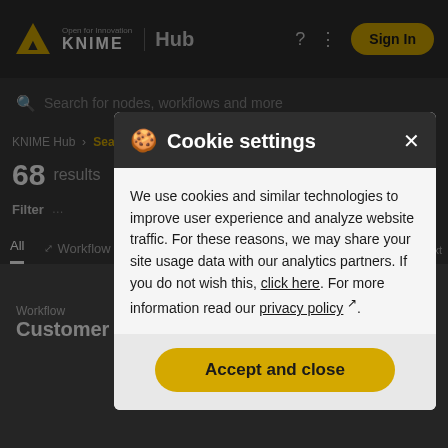[Figure (screenshot): KNIME Hub website background, dimmed, showing navigation bar with KNIME logo and Hub text, search area, breadcrumb showing 'KNIME Hub > Search', 68 results text, Filter section, All/Workflow tabs, and partial workflow card showing 'Customer'.]
Cookie settings
We use cookies and similar technologies to improve user experience and analyze website traffic. For these reasons, we may share your site usage data with our analytics partners. If you do not wish this, click here. For more information read our privacy policy ↗.